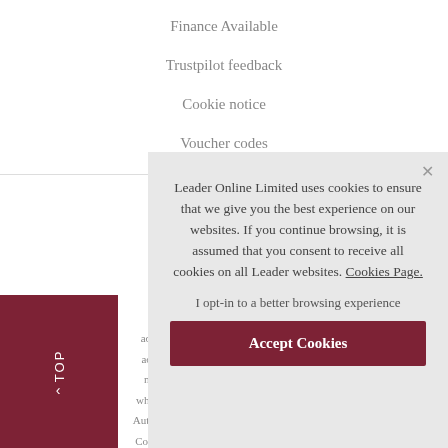Finance Available
Trustpilot feedback
Cookie notice
Voucher codes
© 2022 C…
ader Furniture…
ader Online L…
nce products…
who is authorise…
Authority (registe…
Company Regist…
Leader Online Limited uses cookies to ensure that we give you the best experience on our websites. If you continue browsing, it is assumed that you consent to receive all cookies on all Leader websites. Cookies Page.

I opt-in to a better browsing experience

Accept Cookies